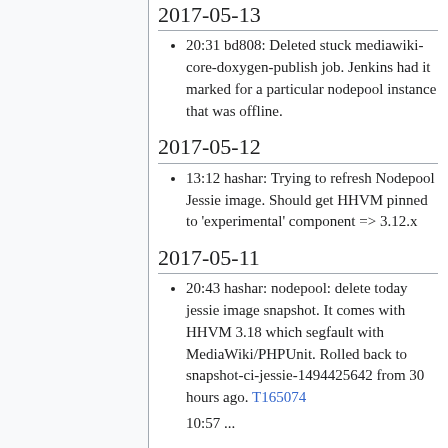2017-05-13
20:31 bd808: Deleted stuck mediawiki-core-doxygen-publish job. Jenkins had it marked for a particular nodepool instance that was offline.
2017-05-12
13:12 hashar: Trying to refresh Nodepool Jessie image. Should get HHVM pinned to 'experimental' component => 3.12.x
2017-05-11
20:43 hashar: nodepool: delete today jessie image snapshot. It comes with HHVM 3.18 which segfault with MediaWiki/PHPUnit. Rolled back to snapshot-ci-jessie-1494425642 from 30 hours ago. T165074
10:57 ...